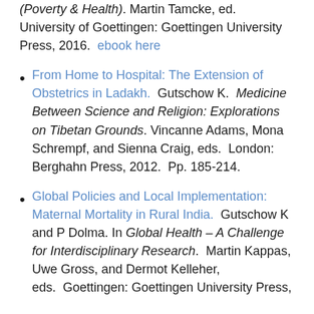(Poverty & Health). Martin Tamcke, ed. University of Goettingen: Goettingen University Press, 2016.  ebook here
From Home to Hospital: The Extension of Obstetrics in Ladakh.  Gutschow K.  Medicine Between Science and Religion: Explorations on Tibetan Grounds. Vincanne Adams, Mona Schrempf, and Sienna Craig, eds.  London: Berghahn Press, 2012.  Pp. 185-214.
Global Policies and Local Implementation: Maternal Mortality in Rural India.  Gutschow K and P Dolma. In Global Health – A Challenge for Interdisciplinary Research.  Martin Kappas, Uwe Gross, and Dermot Kelleher, eds.  Goettingen: Goettingen University Press,